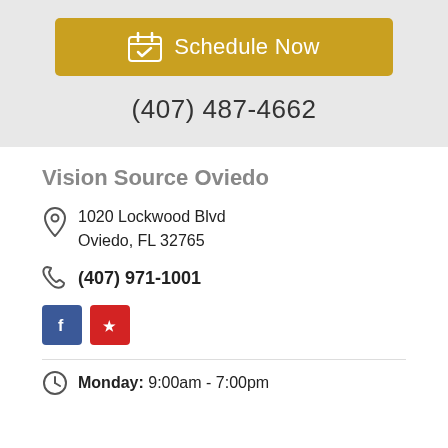[Figure (other): Gold 'Schedule Now' button with calendar icon]
(407) 487-4662
Vision Source Oviedo
1020 Lockwood Blvd
Oviedo, FL 32765
(407) 971-1001
[Figure (other): Facebook and Yelp social media icons]
Monday: 9:00am - 7:00pm